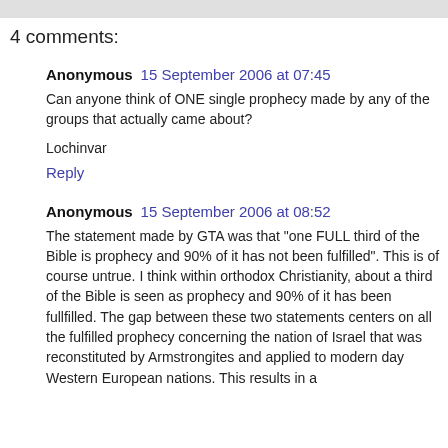4 comments:
Anonymous 15 September 2006 at 07:45
Can anyone think of ONE single prophecy made by any of the groups that actually came about?
Lochinvar
Reply
Anonymous 15 September 2006 at 08:52
The statement made by GTA was that "one FULL third of the Bible is prophecy and 90% of it has not been fulfilled". This is of course untrue. I think within orthodox Christianity, about a third of the Bible is seen as prophecy and 90% of it has been fullfilled. The gap between these two statements centers on all the fulfilled prophecy concerning the nation of Israel that was reconstituted by Armstrongites and applied to modern day Western European nations. This results in a